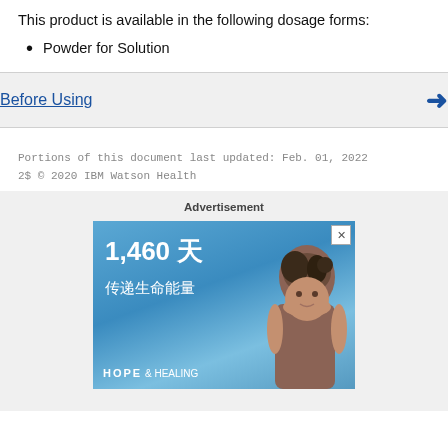This product is available in the following dosage forms:
Powder for Solution
Before Using
Portions of this document last updated: Feb. 01, 2022
® © 2020 IBM Watson Health
[Figure (photo): Advertisement banner with Chinese text '1,460天 传递生命能量' and a woman's photo with 'HOPE & HEALING' text at bottom, blue sky background.]